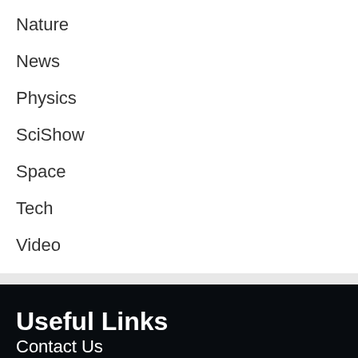Nature
News
Physics
SciShow
Space
Tech
Video
Useful Links
Contact Us
About us